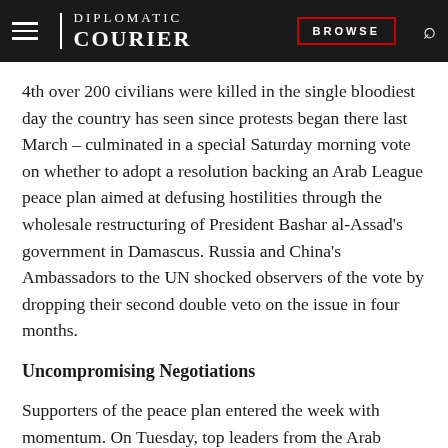DIPLOMATIC COURIER | BROWSE
4th over 200 civilians were killed in the single bloodiest day the country has seen since protests began there last March – culminated in a special Saturday morning vote on whether to adopt a resolution backing an Arab League peace plan aimed at defusing hostilities through the wholesale restructuring of President Bashar al-Assad's government in Damascus. Russia and China's Ambassadors to the UN shocked observers of the vote by dropping their second double veto on the issue in four months.
Uncompromising Negotiations
Supporters of the peace plan entered the week with momentum. On Tuesday, top leaders from the Arab League joined U.S. Secretary of State Hillary Clinton and several of her counterparts before the 15-nation